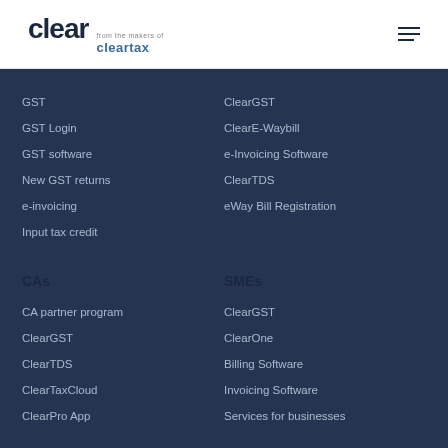[Figure (logo): Clear logo - from the makers of cleartax]
Clear from the makers of cleartax
GST
ClearGST
GST Login
ClearE-Waybill
GST software
e-Invoicing Software
New GST returns
ClearTDS
e-invoicing
eWay Bill Registration
Input tax credit
CAs
SMEs
CA partner program
ClearGST
ClearGST
ClearOne
ClearTDS
Billing Software
ClearTaxCloud
Invoicing Software
ClearPro App
Services for businesses